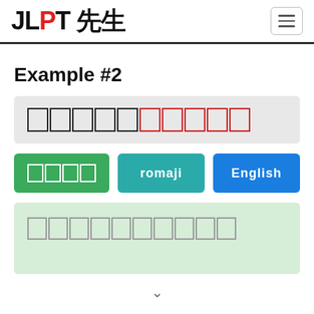JLPT 先生
Example #2
[Figure (screenshot): Japanese sentence displayed in boxes with some characters outlined in black and some in red]
[Figure (screenshot): Three buttons: ふりがな (green), romaji (teal), English (blue)]
[Figure (screenshot): Answer box with light green background showing Japanese characters in outlined boxes]